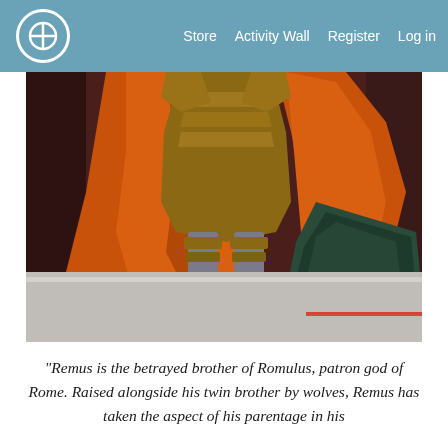Store  Activity Wall  Register  Log in
[Figure (illustration): Digital illustration of the lower body of a Roman warrior figure wearing golden-brown armor, an orange flowing cape/cloak, bracers, and sandals. The figure stands on a light stone surface against a dark reddish-brown background, holding what appears to be a large dark shield or weapon to the right.]
"Remus is the betrayed brother of Romulus, patron god of Rome. Raised alongside his twin brother by wolves, Remus has taken the aspect of his parentage in his